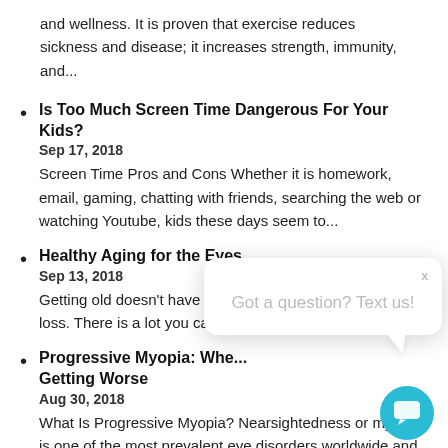and wellness. It is proven that exercise reduces sickness and disease; it increases strength, immunity, and...
Is Too Much Screen Time Dangerous For Your Kids?
Sep 17, 2018
Screen Time Pros and Cons Whether it is homework, email, gaming, chatting with friends, searching the web or watching Youtube, kids these days seem to...
Healthy Aging for the Eyes
Sep 13, 2018
Getting old doesn't have to be synonymous with vision loss. There is a lot you can do to... and...
Progressive Myopia: Whe... Getting Worse
Aug 30, 2018
What Is Progressive Myopia? Nearsightedness or myopia is one of the most prevalent eye disorders worldwide and incidence is increasing. In fact by 2050,...